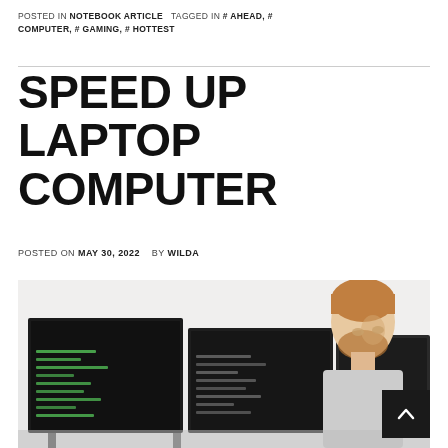POSTED IN NOTEBOOK ARTICLE   TAGGED IN # AHEAD, # COMPUTER, # GAMING, # HOTTEST
SPEED UP LAPTOP COMPUTER
POSTED ON MAY 30, 2022   BY WILDA
[Figure (photo): A man with a beard and reddish-brown hair sitting at a desk looking at two computer monitors displaying code on dark screens, in a bright office environment.]